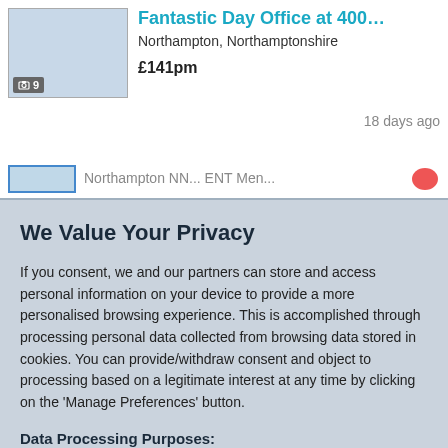[Figure (screenshot): Office listing thumbnail image with camera icon and photo count showing 9]
Fantastic Day Office at 400...
Northampton, Northamptonshire
£141pm
18 days ago
We Value Your Privacy
If you consent, we and our partners can store and access personal information on your device to provide a more personalised browsing experience. This is accomplished through processing personal data collected from browsing data stored in cookies. You can provide/withdraw consent and object to processing based on a legitimate interest at any time by clicking on the 'Manage Preferences' button.
Data Processing Purposes:
Store and/or access information on a device. Personalised ads and content, ad and content measurement, audience insights and product development.
List of Partners (vendors)
Accept
Manage your privacy settings